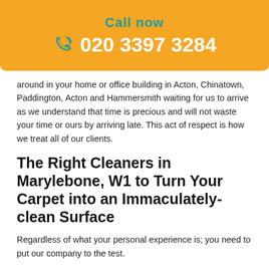[Figure (other): Orange banner with phone icon, 'Call now' text in teal, and phone number '020 3397 3284' in white bold text]
around in your home or office building in Acton, Chinatown, Paddington, Acton and Hammersmith waiting for us to arrive as we understand that time is precious and will not waste your time or ours by arriving late. This act of respect is how we treat all of our clients.
The Right Cleaners in Marylebone, W1 to Turn Your Carpet into an Immaculately-clean Surface
Regardless of what your personal experience is; you need to put our company to the test.
Call us now to book an appointment in Piccadilly.
What's more you can also take advantage of one of our many offered special rates for UB3 and W13. You have not experience professional cleaners London till you have tried one or more of our cleaning services. Do not wait another minute; hire one of our teams today. There has